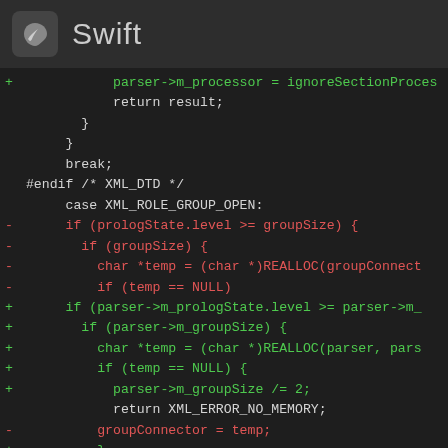Swift
[Figure (screenshot): Code diff view showing C/XML parser code changes. Lines with '+' are additions in green, lines with '-' are removals in red, and unchanged lines are in white/grey.]